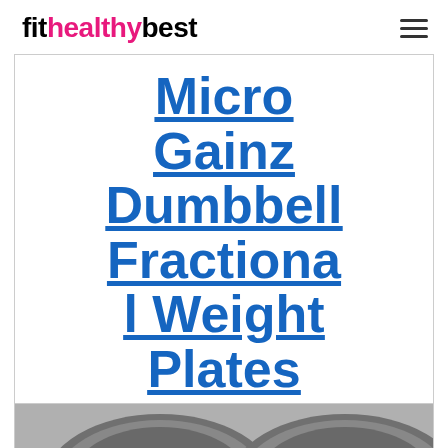fithealthybest
Micro Gainz Dumbbell Fractional Weight Plates
[Figure (photo): Photo of dumbbell fractional weight plates, shown as dark metallic circular plates at the bottom of the page]